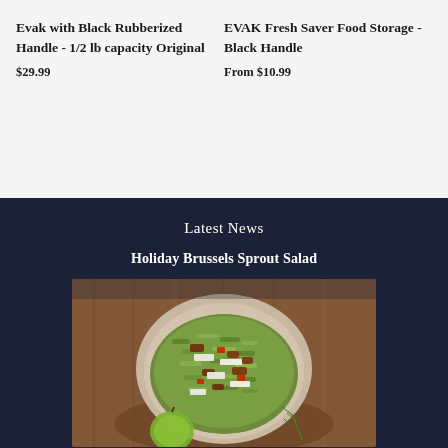Evak with Black Rubberized Handle - 1/2 lb capacity Original
$29.99
EVAK Fresh Saver Food Storage - Black Handle
From $10.99
Latest News
Holiday Brussels Sprout Salad
[Figure (photo): A bowl of Holiday Brussels Sprout Salad with shredded brussels sprouts, bacon pieces, red pepper, and white cheese shavings, placed on a wooden board with a green apple visible at the bottom.]